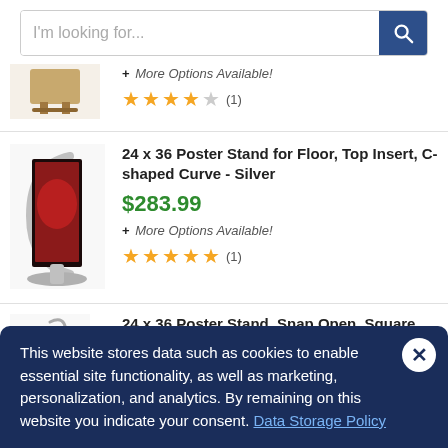[Figure (screenshot): Search bar with placeholder text 'I'm looking for...' and blue search button with magnifying glass icon]
[Figure (photo): Partial product image - wooden furniture item with 4 out of 5 star rating and '+ More Options Available!' text]
+ More Options Available!
[Figure (photo): C-shaped curved silver poster stand displaying a red advertisement poster]
24 x 36 Poster Stand for Floor, Top Insert, C-shaped Curve - Silver
$283.99
+ More Options Available!
★★★★★ (1)
[Figure (photo): Silver square base snap open poster stand, partially visible]
24 x 36 Poster Stand, Snap Open, Square Base - Silver
This website stores data such as cookies to enable essential site functionality, as well as marketing, personalization, and analytics. By remaining on this website you indicate your consent. Data Storage Policy